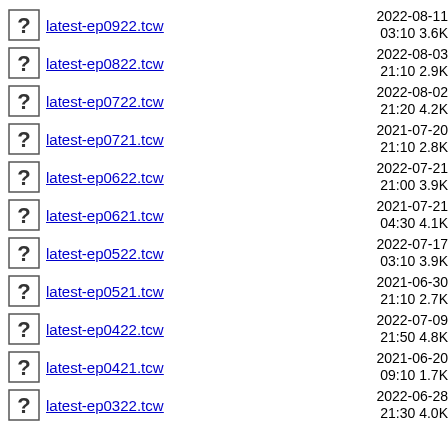latest-ep0922.tcw  2022-08-11 03:10 3.6K
latest-ep0822.tcw  2022-08-03 21:10 2.9K
latest-ep0722.tcw  2022-08-02 21:20 4.2K
latest-ep0721.tcw  2021-07-20 21:10 2.8K
latest-ep0622.tcw  2022-07-21 21:00 3.9K
latest-ep0621.tcw  2021-07-21 04:30 4.1K
latest-ep0522.tcw  2022-07-17 03:10 3.9K
latest-ep0521.tcw  2021-06-30 21:10 2.7K
latest-ep0422.tcw  2022-07-09 21:50 4.8K
latest-ep0421.tcw  2021-06-20 09:10 1.7K
latest-ep0322.tcw  2022-06-28 21:30 4.0K